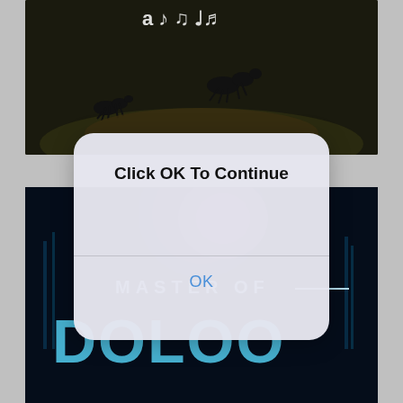[Figure (screenshot): Top portion of a screenshot showing a dark-themed game or app with ants on a dark background]
[Figure (screenshot): Bottom portion of a screenshot showing a sci-fi game titled 'MASTER OF' with blue neon lettering]
Click OK To Continue
OK